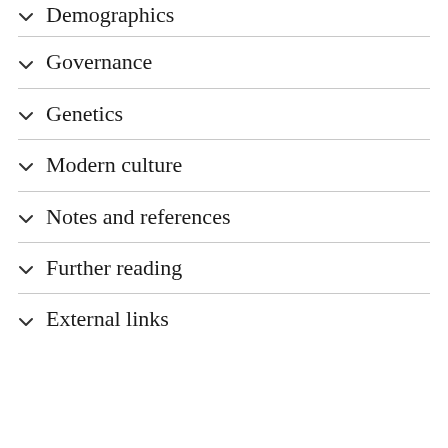Demographics
Governance
Genetics
Modern culture
Notes and references
Further reading
External links